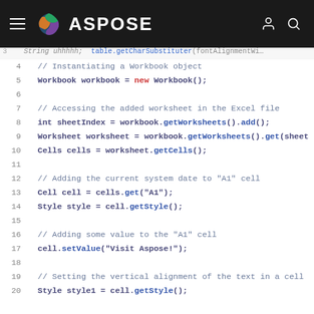ASPOSE
[Figure (screenshot): Code snippet showing Java code using Aspose Cells API, with line numbers 3-20, on a white background. Lines show Workbook instantiation, worksheet access, cell operations, and style setting.]